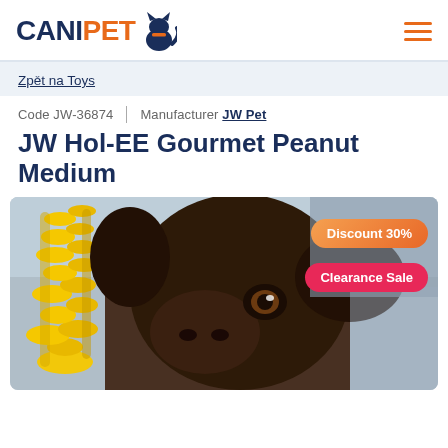CANIPET [logo with cat icon] [hamburger menu]
Zpět na Toys
Code JW-36874  |  Manufacturer JW Pet
JW Hol-EE Gourmet Peanut Medium
[Figure (photo): Product photo showing a dark brown Labrador dog looking at a yellow Hol-EE rubber toy. Overlaid badges read 'Discount 30%' (orange) and 'Clearance Sale' (pink/red).]